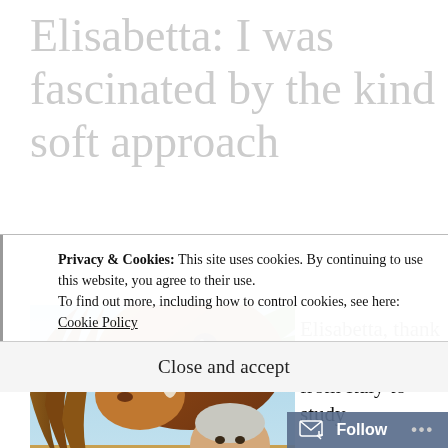Elisabetta: I was fascinated by the kind soft approach
[Figure (photo): A woman with short grey hair standing next to a brown horse close-up, with palm fronds visible in the background]
Elisabetta, thank you for traveling from Italy to study
Privacy & Cookies: This site uses cookies. By continuing to use this website, you agree to their use.
To find out more, including how to control cookies, see here: Cookie Policy
Close and accept